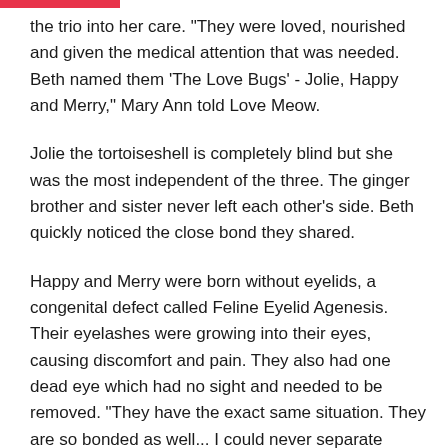the trio into her care. "They were loved, nourished and given the medical attention that was needed. Beth named them 'The Love Bugs' - Jolie, Happy and Merry," Mary Ann told Love Meow.
Jolie the tortoiseshell is completely blind but she was the most independent of the three. The ginger brother and sister never left each other's side. Beth quickly noticed the close bond they shared.
Happy and Merry were born without eyelids, a congenital defect called Feline Eyelid Agenesis. Their eyelashes were growing into their eyes, causing discomfort and pain. They also had one dead eye which had no sight and needed to be removed. "They have the exact same situation. They are so bonded as well... I could never separate them," Beth said